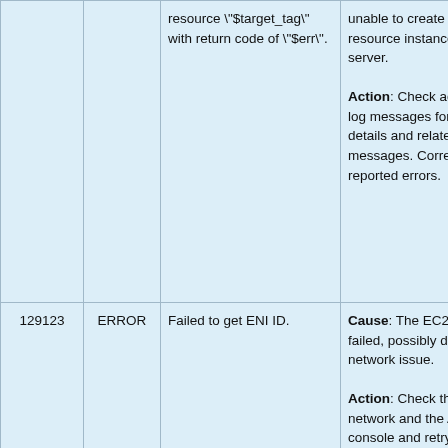| ID | Type | Message | Description |
| --- | --- | --- | --- |
|  |  | resource "$target_tag" with return code of "$err". | unable to create the resource instance on the server.

Action: Check adjacent log messages for further details and related messages. Correct any reported errors. |
| 129123 | ERROR | Failed to get ENI ID. | Cause: The EC2 API call failed, possibly due to a network issue.

Action: Check the network and the Amazon console and retry the operation. |
|  |  |  |  |